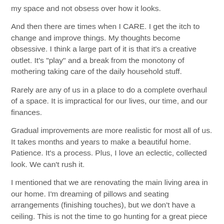my space and not obsess over how it looks.
And then there are times when I CARE. I get the itch to change and improve things. My thoughts become obsessive. I think a large part of it is that it's a creative outlet. It's "play" and a break from the monotony of mothering taking care of the daily household stuff.
Rarely are any of us in a place to do a complete overhaul of a space. It is impractical for our lives, our time, and our finances.
Gradual improvements are more realistic for most all of us. It takes months and years to make a beautiful home. Patience. It's a process. Plus, I love an eclectic, collected look. We can't rush it.
I mentioned that we are renovating the main living area in our home. I'm dreaming of pillows and seating arrangements (finishing touches), but we don't have a ceiling. This is not the time to go hunting for a great piece of art. I need to hunker down, wait out the renovation, and save our money.